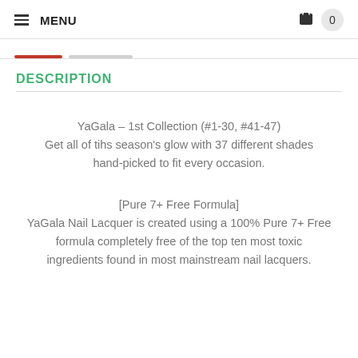MENU  0
DESCRIPTION
YaGala – 1st Collection (#1-30, #41-47)
Get all of tihs season's glow with 37 different shades hand-picked to fit every occasion.
[Pure 7+ Free Formula]
YaGala Nail Lacquer is created using a 100% Pure 7+ Free formula completely free of the top ten most toxic ingredients found in most mainstream nail lacquers.